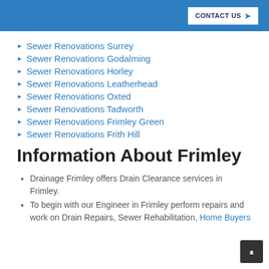CONTACT US
Sewer Renovations Surrey
Sewer Renovations Godalming
Sewer Renovations Horley
Sewer Renovations Leatherhead
Sewer Renovations Oxted
Sewer Renovations Tadworth
Sewer Renovations Frimley Green
Sewer Renovations Frith Hill
Information About Frimley
Drainage Frimley offers Drain Clearance services in Frimley.
To begin with our Engineer in Frimley perform repairs and work on Drain Repairs, Sewer Rehabilitation, Home Buyers